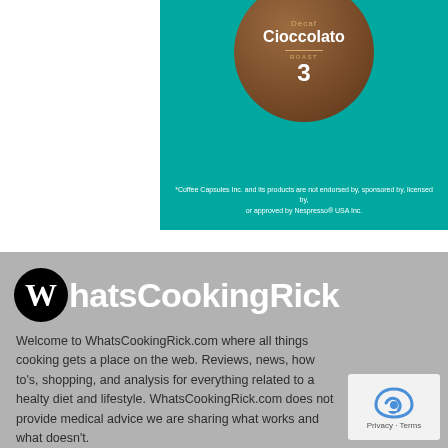[Figure (photo): Product image of a coffee capsule labeled 'Decaf Cioccolato' intensity 3, on a teal/green background with a disclaimer at the bottom]
*Coffee Capsules Inc. and its products are not endorsed by, sponsored by, licensed by, or approved by Nespresso® USA Inc.
[Figure (logo): WhatsCookingRick logo with a black circle containing a white W followed by WhatsCookingRick in white bold text]
Welcome to WhatsCookingRick.com where all things cooking gets a place on the web. Reviews, news, how to's, shopping, and analysis for everything related to a healty diet and lifestyle. WhatsCookingRick.com does not provide medical advice we are sharing what works and what doesn't.